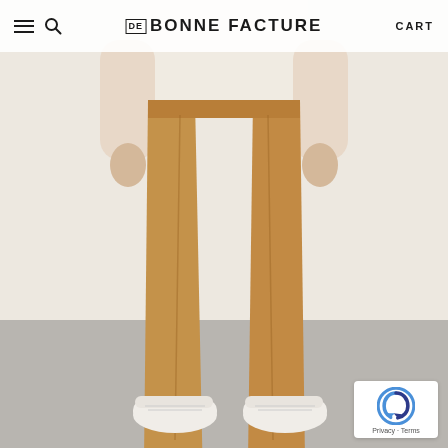[Figure (photo): Man wearing camel/tan wide-leg trousers with white sneakers, standing against a light beige wall with grey floor. Only lower torso and legs visible.]
DE BONNE FACTURE  CART
[Figure (logo): reCAPTCHA badge with Privacy and Terms links]